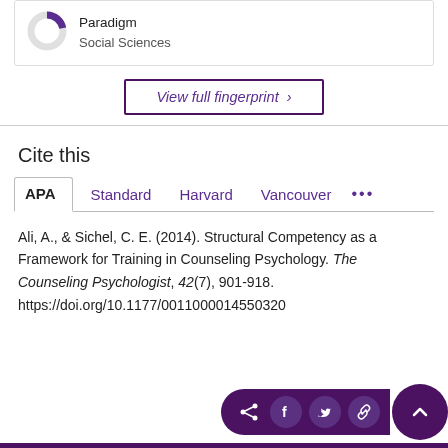[Figure (other): Donut chart snippet with Paradigm / Social Sciences label]
View full fingerprint ›
Cite this
APA  Standard  Harvard  Vancouver  ...
Ali, A., & Sichel, C. E. (2014). Structural Competency as a Framework for Training in Counseling Psychology. The Counseling Psychologist, 42(7), 901-918. https://doi.org/10.1177/0011000014550320
[Figure (other): Social share icons bar (share, Facebook, Twitter, link) and up arrow button]